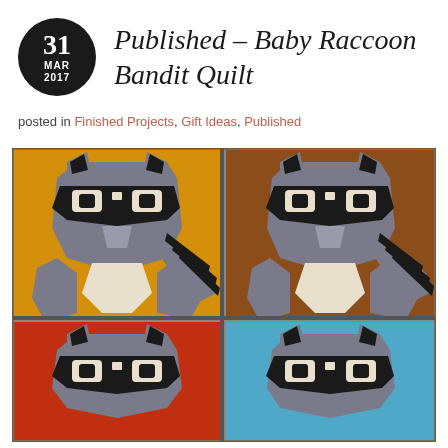Published – Baby Raccoon Bandit Quilt
posted in Finished Projects, Gift Ideas, Published
[Figure (photo): A quilt with four raccoon face blocks in different background colors: yellow/gold (top left), brown (top right), red/orange (bottom left), and light blue (bottom right). Each block features a stylized raccoon face with black mask, gray fur, white belly patch, and striped tail, made from patchwork fabric.]